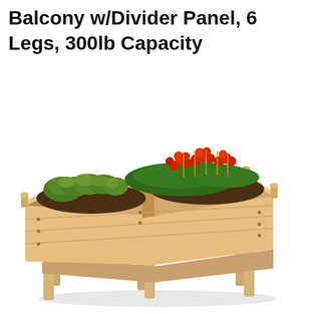Balcony w/Divider Panel, 6 Legs, 300lb Capacity
[Figure (photo): A wooden raised garden bed planter box with 6 legs, a central divider panel, filled with green herbs and red flowering plants. Natural cedar wood finish. White background.]